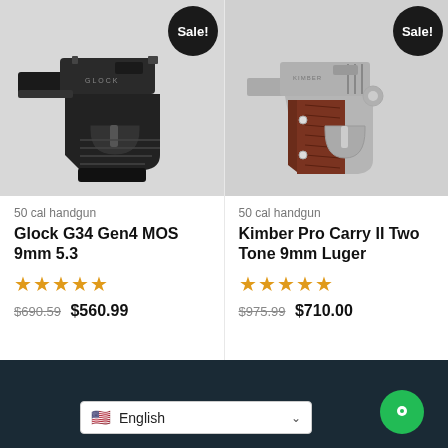[Figure (photo): Glock G34 Gen4 MOS 9mm handgun shown against gray background with Sale! badge]
50 cal handgun
Glock G34 Gen4 MOS 9mm 5.3
★★★★★
$690.59 $560.99
[Figure (photo): Kimber Pro Carry II Two Tone 9mm Luger handgun shown against gray background with Sale! badge]
50 cal handgun
Kimber Pro Carry II Two Tone 9mm Luger
★★★★★
$975.99 $710.00
English